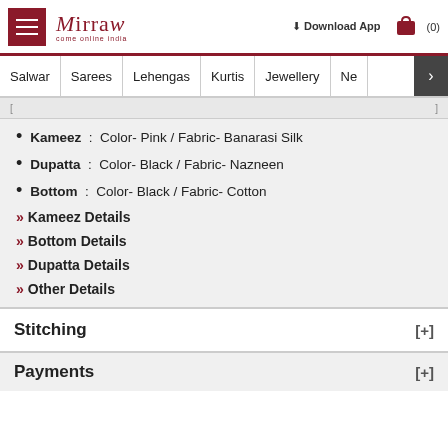Mirraw — Come Online India | Download App | Cart (0)
Salwar | Sarees | Lehengas | Kurtis | Jewellery | Ne >
Kameez : Color- Pink / Fabric- Banarasi Silk
Dupatta : Color- Black / Fabric- Nazneen
Bottom : Color- Black / Fabric- Cotton
» Kameez Details
» Bottom Details
» Dupatta Details
» Other Details
Stitching [+]
Payments [+]